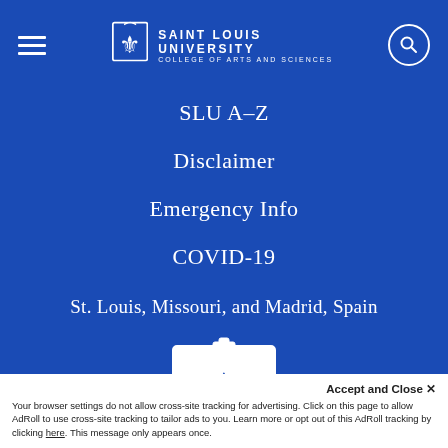SAINT LOUIS UNIVERSITY COLLEGE OF ARTS AND SCIENCES
SLU A-Z
Disclaimer
Emergency Info
COVID-19
St. Louis, Missouri, and Madrid, Spain
[Figure (logo): Saint Louis University fleur-de-lis shield logo in white on blue background]
Accept and Close ×
Your browser settings do not allow cross-site tracking for advertising. Click on this page to allow AdRoll to use cross-site tracking to tailor ads to you. Learn more or opt out of this AdRoll tracking by clicking here. This message only appears once.